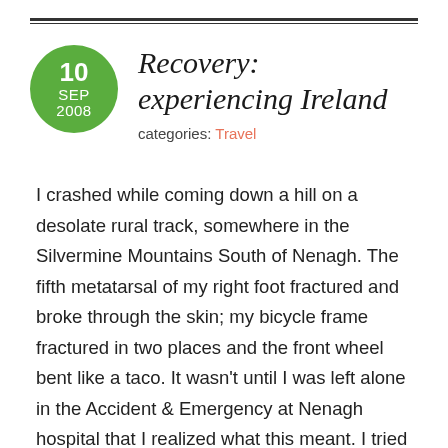Recovery: experiencing Ireland
categories: Travel
I crashed while coming down a hill on a desolate rural track, somewhere in the Silvermine Mountains South of Nenagh. The fifth metatarsal of my right foot fractured and broke through the skin; my bicycle frame fractured in two places and the front wheel bent like a taco. It wasn't until I was left alone in the Accident & Emergency at Nenagh hospital that I realized what this meant. I tried to keep a positive attitude, though; positive thinking is one of the most important parts of healing, and it's never good